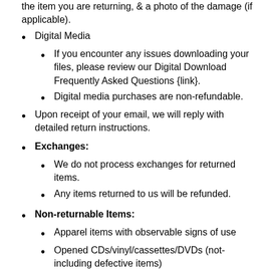the item you are returning, & a photo of the damage (if applicable).
Digital Media
If you encounter any issues downloading your files, please review our Digital Download Frequently Asked Questions {link}.
Digital media purchases are non-refundable.
Upon receipt of your email, we will reply with detailed return instructions.
Exchanges:
We do not process exchanges for returned items.
Any items returned to us will be refunded.
Non-returnable Items:
Apparel items with observable signs of use
Opened CDs/vinyl/cassettes/DVDs (not-including defective items)
Downloadable digital media
On Demand Items
Items that are damaged and/or missing